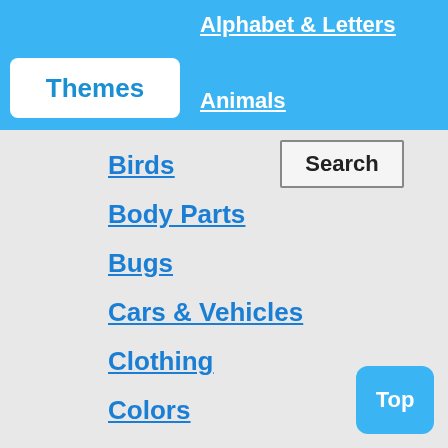Alphabet & Letters
Animals
Themes
Search
Birds
Body Parts
Bugs
Cars & Vehicles
Clothing
Colors
Countries & Cities
Directions
Emotions
Food
Hair
Top